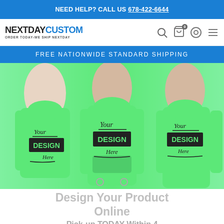NEED HELP? CALL US 678-422-6644
[Figure (logo): NextDayCustom logo with tagline 'ORDER TODAY-WE SHIP NEXTDAY']
FREE NATIONWIDE STANDARD SHIPPING
[Figure (photo): Three models wearing mint green custom hoodies with 'Your DESIGN Here' text printed on the front]
Design Your Product Online
Pick-up TODAY Within 4 Business Hours